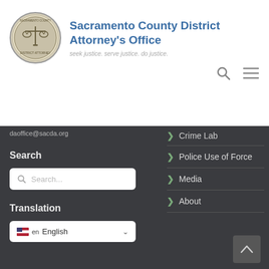[Figure (logo): Sacramento County District Attorney's Office circular seal/badge logo]
Sacramento County District Attorney's Office
seek justice. serve justice. do justice.
[Figure (other): Search icon and hamburger menu icon in header]
daoffice@sacda.org
Search
[Figure (screenshot): Search input box with placeholder text 'Search...']
Translation
[Figure (screenshot): Language selector dropdown showing 'en English']
Crime Lab
Police Use of Force
Media
About